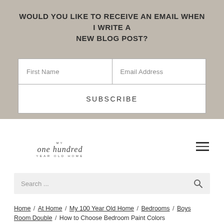WOULD YOU LIKE TO RECEIVE AN EMAIL WHEN I WRITE A NEW BLOG POST?
[Figure (screenshot): Email subscription form with First Name and Email Address input fields and a SUBSCRIBE button]
[Figure (logo): My One Hundred Year Old Home cursive logo with hamburger menu icon]
[Figure (screenshot): Search bar with search icon]
Home / At Home / My 100 Year Old Home / Bedrooms / Boys Room Double / How to Choose Bedroom Paint Colors